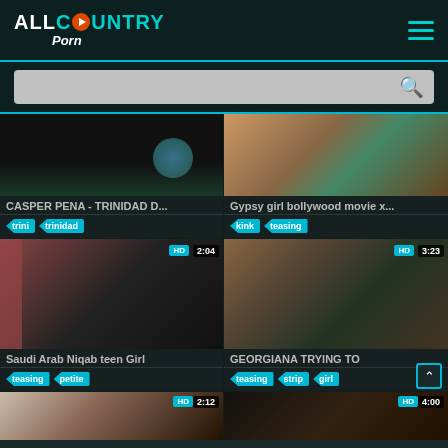ALL COUNTRY Porn
[Figure (screenshot): Search bar with magnifying glass icon on dark teal background]
[Figure (screenshot): Video thumbnail - CASPER PENA - TRINIDAD D... with tags: trini, trinidad]
[Figure (screenshot): Video thumbnail - Gypsy girl bollywood movie x... with tags: kink, teasing]
[Figure (screenshot): Video thumbnail HD 2:04 - Saudi Arab Niqab teen Girl with tags: teasing, petite]
[Figure (screenshot): Video thumbnail HD 3:23 - GEORGIANA TRYING TO with tags: teasing, strip, girl]
[Figure (screenshot): Video thumbnail HD 2:12 - bottom left partial]
[Figure (screenshot): Video thumbnail HD 4:00 - bottom right partial]